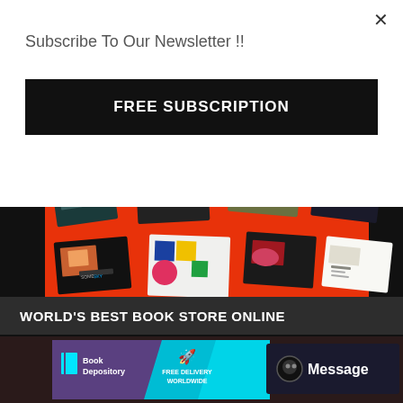×
Subscribe To Our Newsletter !!
FREE SUBSCRIPTION
[Figure (screenshot): Screenshot showing multiple website template thumbnails displayed on a red/orange background, arranged in two rows at various angles]
WORLD'S BEST BOOK STORE ONLINE
[Figure (screenshot): Book Depository banner with cyan gradient background showing Book Depository logo with book icon, FREE DELIVERY WORLDWIDE text with rocket icon, and a dark Message button with chat icon on the right]